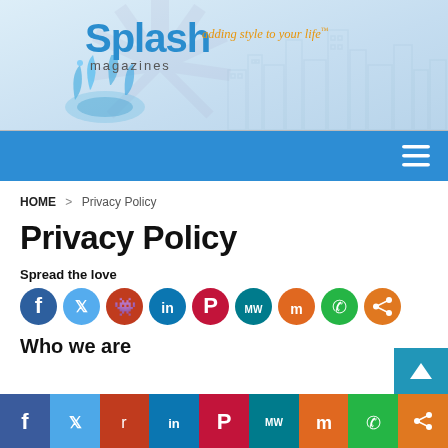[Figure (logo): Splash Magazines logo with water splash graphic and tagline 'adding style to your life']
≡ (hamburger menu on blue navigation bar)
HOME > Privacy Policy
Privacy Policy
Spread the love
[Figure (infographic): Row of social media share buttons: Facebook (blue), Twitter (light blue), Reddit (orange-red), LinkedIn (blue), Pinterest (red), MeWe (teal), Mix (orange), WhatsApp (green), Share (orange)]
Who we are
[Figure (infographic): Bottom social share bar with Facebook, Twitter, Reddit, LinkedIn, Pinterest, MeWe, Mix, WhatsApp, Share icons in colored blocks]